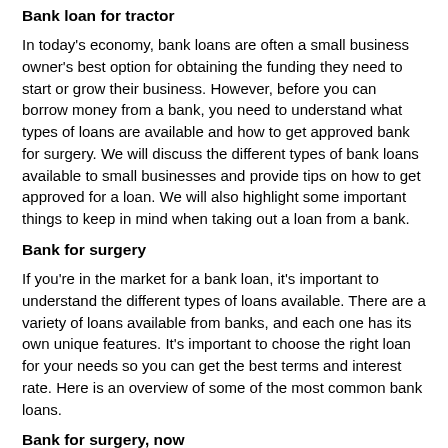Bank loan for tractor
In today's economy, bank loans are often a small business owner's best option for obtaining the funding they need to start or grow their business. However, before you can borrow money from a bank, you need to understand what types of loans are available and how to get approved bank for surgery. We will discuss the different types of bank loans available to small businesses and provide tips on how to get approved for a loan. We will also highlight some important things to keep in mind when taking out a loan from a bank.
Bank for surgery
If you're in the market for a bank loan, it's important to understand the different types of loans available. There are a variety of loans available from banks, and each one has its own unique features. It's important to choose the right loan for your needs so you can get the best terms and interest rate. Here is an overview of some of the most common bank loans.
Bank for surgery, now